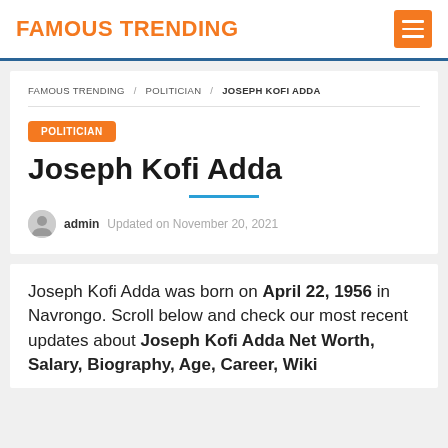FAMOUS TRENDING
FAMOUS TRENDING / POLITICIAN / JOSEPH KOFI ADDA
POLITICIAN
Joseph Kofi Adda
admin  Updated on November 20, 2021
Joseph Kofi Adda was born on April 22, 1956 in Navrongo. Scroll below and check our most recent updates about Joseph Kofi Adda Net Worth, Salary, Biography, Age, Career, Wiki